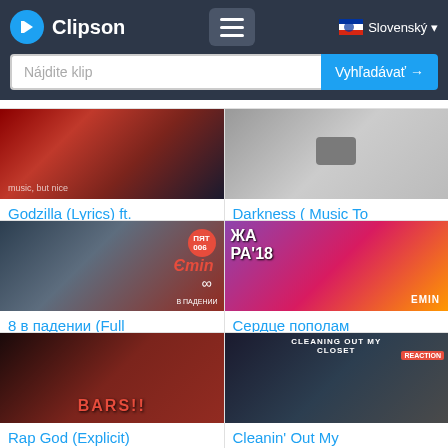Clipson — Nájdite klip — Vyhľadávať → — Slovenský
[Figure (screenshot): Thumbnail for Godzilla (Lyrics) ft. — dark gradient music video thumbnail]
Godzilla (Lyrics) ft.
[Figure (screenshot): Thumbnail for Darkness (Music To — grey toned thumbnail]
Darkness ( Music To
[Figure (screenshot): Thumbnail for 8 в падении (Full — EMIN album art thumbnail]
8 в падении (Full
[Figure (screenshot): Thumbnail for Сердце пополам — ЖАРА 18 concert, EMIN performer]
Сердце пополам
[Figure (screenshot): Thumbnail for Rap God (Explicit) — BARS!! graphic thumbnail]
Rap God (Explicit)
[Figure (screenshot): Thumbnail for Cleanin' Out My — reaction video thumbnail]
Cleanin' Out My